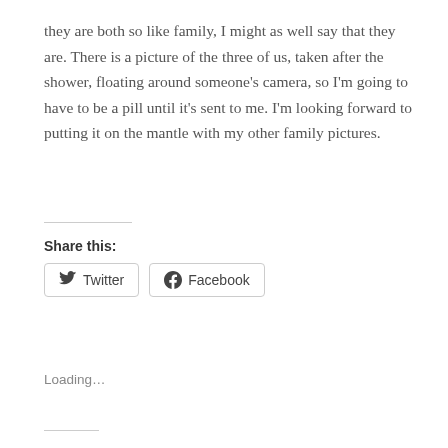they are both so like family, I might as well say that they are. There is a picture of the three of us, taken after the shower, floating around someone's camera, so I'm going to have to be a pill until it's sent to me. I'm looking forward to putting it on the mantle with my other family pictures.
Share this:
[Figure (other): Social share buttons for Twitter and Facebook]
Loading...